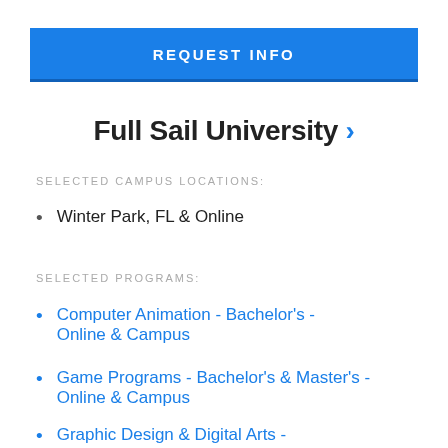REQUEST INFO
Full Sail University
SELECTED CAMPUS LOCATIONS:
Winter Park, FL & Online
SELECTED PROGRAMS:
Computer Animation - Bachelor's - Online & Campus
Game Programs - Bachelor's & Master's - Online & Campus
Graphic Design & Digital Arts -